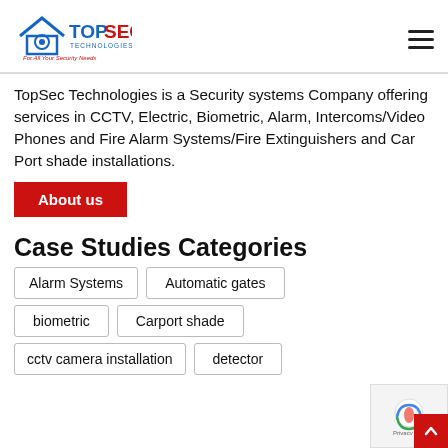[Figure (logo): TopSec Technologies logo — house icon with camera eye, blue and red text, tagline 'For All Your Security Needs']
TopSec Technologies is a Security systems Company offering services in CCTV, Electric, Biometric, Alarm, Intercoms/Video Phones and Fire Alarm Systems/Fire Extinguishers and Car Port shade installations.
About us
Case Studies Categories
Alarm Systems
Automatic gates
biometric
Carport shade
cctv camera installation
detector